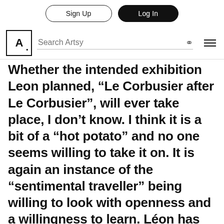Sign Up | Log In | Search Artsy
Whether the intended exhibition Leon planned, “Le Corbusier after Le Corbusier”, will ever take place, I don’t know. I think it is a bit of a “hot potato” and no one seems willing to take it on. It is again an instance of the “sentimental traveller” being willing to look with openness and a willingness to learn. Léon has looked at Pessac and identified where he feels it could be improved. As built it is only suburban housing. Le Corbusier designed a second